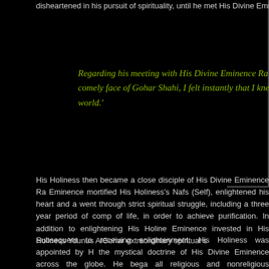disheartened in his pursuit of spirituality, until he met His Divine Eminence.
Regarding his meeting with His Divine Eminence Ra Riaz Gohar Shahi,His Holiness stated, ‘When I first looked at the comely face of Gohar Shahi, I felt instantly that I knew Gohar Shahi all along, long before we had even come to this world.’
His Holiness then became a close disciple of His Divine Eminence Ra Eminence mortified His Holiness’s Nafs (Self), enlightened his heart and a went through strict spiritual struggle, including a three year period of comp of life, in order to achieve purification. In addition to enlightening His Holine Eminence invested in His Holiness Younus AlGohar extraordinary spiritual s
Subsequent to receiving enlightenment, His Holiness was appointed by H the mystical doctrine of His Divine Eminence across the globe. He bega all religious and nonreligious communities, without any cultural or national